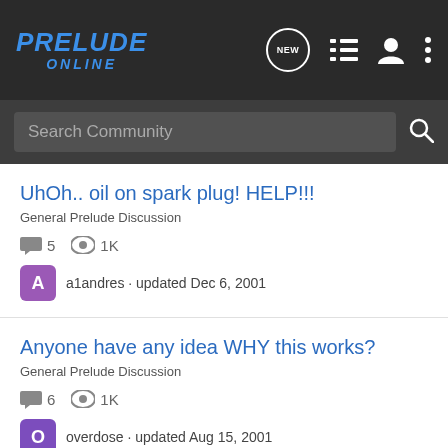PRELUDE ONLINE
Search Community
UhOh.. oil on spark plug! HELP!!!
General Prelude Discussion
5 comments · 1K views · a1andres · updated Dec 6, 2001
Anyone have any idea WHY this works?
General Prelude Discussion
6 comments · 1K views · overdose · updated Aug 15, 2001
Whats my engine telling me?